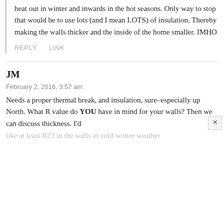heat out in winter and inwards in the hot seasons. Only way to stop that would be to use lots (and I mean LOTS) of insulation. Thereby making the walls thicker and the inside of the home smaller. IMHO
REPLY
LINK
JM
February 2, 2016, 3:57 am
Needs a proper thermal break, and insulation, sure–especially up North. What R value do YOU have in mind for your walls? Then we can discuss thickness. I'd like at least R23 in the walls in cold winter weather